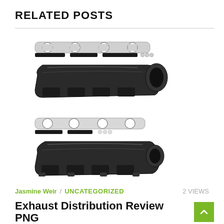RELATED POSTS
[Figure (photo): Exhaust manifold components laid out: gaskets, bolts, and two cast iron exhaust manifolds, shown disassembled on white background.]
Jasmine Weir / UNCATEGORIZED    2 VIEWS
Exhaust Distribution Review PNG